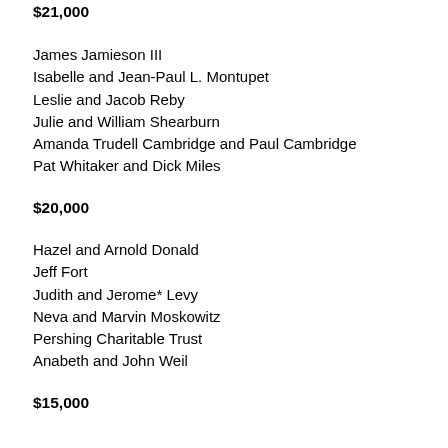$21,000
James Jamieson III
Isabelle and Jean-Paul L. Montupet
Leslie and Jacob Reby
Julie and William Shearburn
Amanda Trudell Cambridge and Paul Cambridge
Pat Whitaker and Dick Miles
$20,000
Hazel and Arnold Donald
Jeff Fort
Judith and Jerome* Levy
Neva and Marvin Moskowitz
Pershing Charitable Trust
Anabeth and John Weil
$15,000